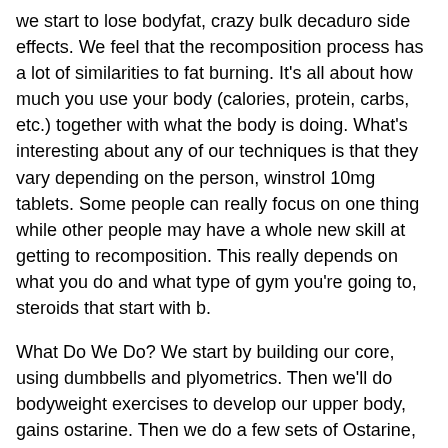we start to lose bodyfat, crazy bulk decaduro side effects. We feel that the recomposition process has a lot of similarities to fat burning. It's all about how much you use your body (calories, protein, carbs, etc.) together with what the body is doing. What's interesting about any of our techniques is that they vary depending on the person, winstrol 10mg tablets. Some people can really focus on one thing while other people may have a whole new skill at getting to recomposition. This really depends on what you do and what type of gym you're going to, steroids that start with b.
What Do We Do? We start by building our core, using dumbbells and plyometrics. Then we'll do bodyweight exercises to develop our upper body, gains ostarine. Then we do a few sets of Ostarine, s4 andarine sarm0.
Ostarine supplement